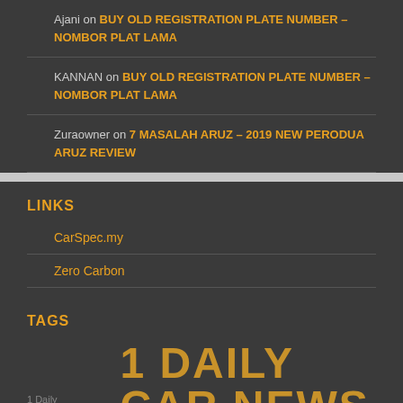Ajani on BUY OLD REGISTRATION PLATE NUMBER – NOMBOR PLAT LAMA
KANNAN on BUY OLD REGISTRATION PLATE NUMBER – NOMBOR PLAT LAMA
Zuraowner on 7 MASALAH ARUZ – 2019 NEW PERODUA ARUZ REVIEW
LINKS
CarSpec.my
Zero Carbon
TAGS
1 DAILY CAR NEWS